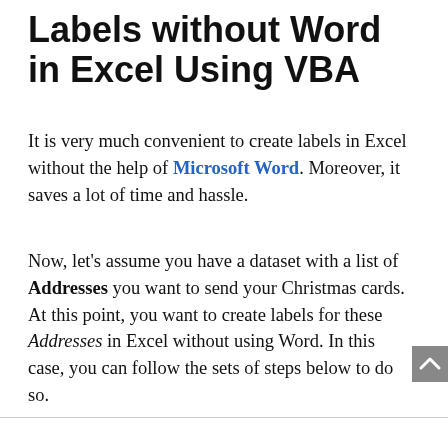Labels without Word in Excel Using VBA
It is very much convenient to create labels in Excel without the help of Microsoft Word. Moreover, it saves a lot of time and hassle.
Now, let's assume you have a dataset with a list of Addresses you want to send your Christmas cards. At this point, you want to create labels for these Addresses in Excel without using Word. In this case, you can follow the sets of steps below to do so.